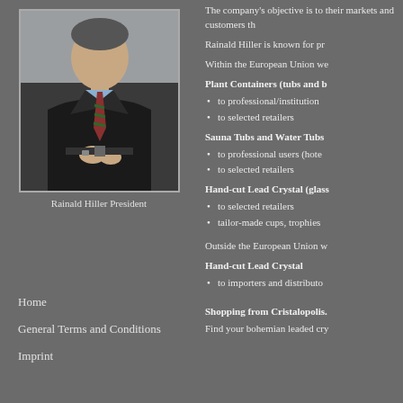[Figure (photo): Portrait photo of Rainald Hiller, a man in a dark suit with a striped tie, standing against a neutral background]
Rainald Hiller President
The company's objective is to their markets and customers th
Rainald Hiller is known for pr
Within the European Union we
Plant Containers (tubs and b
to professional/institution
to selected retailers
Sauna Tubs and Water Tubs
to professional users (hote
to selected retailers
Hand-cut Lead Crystal (glass
to selected retailers
tailor-made cups, trophies
Outside the European Union w
Hand-cut Lead Crystal
to importers and distributo
Shopping from Cristalopolis.
Find your bohemian leaded cry
Home
General Terms and Conditions
Imprint